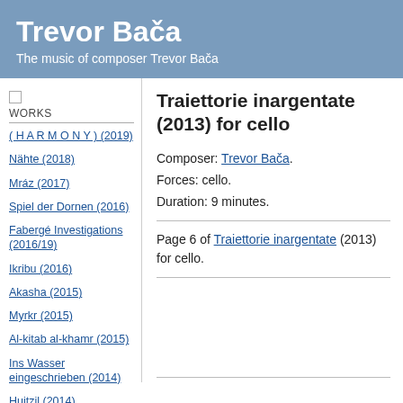Trevor Bača — The music of composer Trevor Bača
WORKS
( H A R M O N Y ) (2019)
Nähte (2018)
Mráz (2017)
Spiel der Dornen (2016)
Fabergé Investigations (2016/19)
Ikribu (2016)
Akasha (2015)
Myrkr (2015)
Al-kitab al-khamr (2015)
Ins Wasser eingeschrieben (2014)
Huitzil (2014)
Traiettorie inargentate (2013) for cello
Composer: Trevor Bača. Forces: cello. Duration: 9 minutes.
Page 6 of Traiettorie inargentate (2013) for cello.
Watch a video of the premiere by Séverine